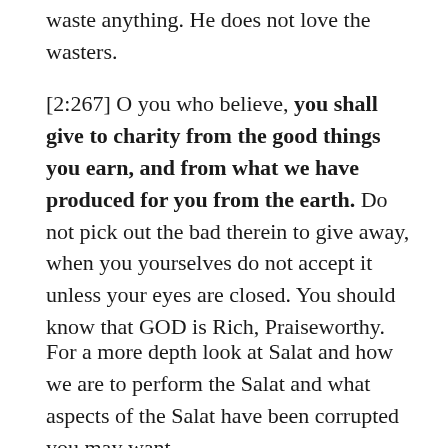waste anything. He does not love the wasters.
[2:267] O you who believe, you shall give to charity from the good things you earn, and from what we have produced for you from the earth. Do not pick out the bad therein to give away, when you yourselves do not accept it unless your eyes are closed. You should know that GOD is Rich, Praiseworthy.
For a more depth look at Salat and how we are to perform the Salat and what aspects of the Salat have been corrupted you may want to look at this, and more on the topic. More of